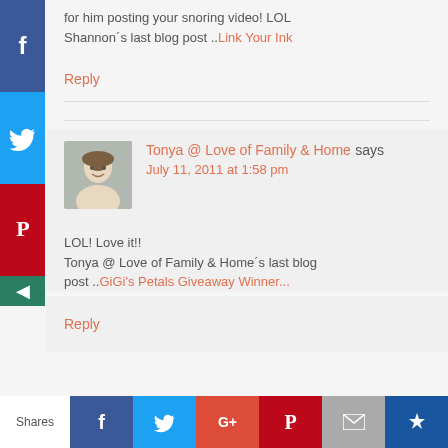for him posting your snoring video! LOL
Shannon´s last blog post ..Link Your Ink
Reply
[Figure (other): Social sharing sidebar with Facebook (blue), Twitter (light blue), Pinterest (red) icons and a green arrow toggle]
[Figure (photo): Avatar photo of Tonya, a woman smiling outdoors]
Tonya @ Love of Family & Home says
July 11, 2011 at 1:58 pm
LOL! Love it!!
Tonya @ Love of Family & Home´s last blog post ..GiGi's Petals Giveaway Winner...
Reply
[Figure (other): Bottom social share bar with Facebook, Twitter, Google+, Pinterest, Email, and Crown icons, with a Shares label on the left]